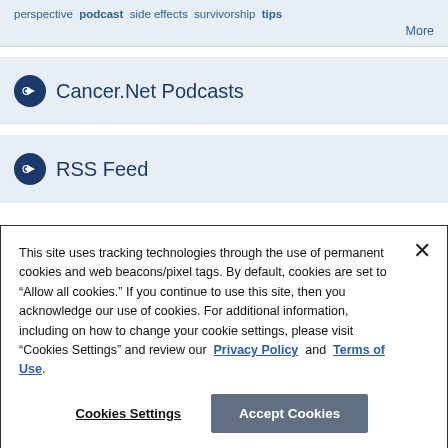perspective podcast side effects survivorship tips More
Cancer.Net Podcasts
RSS Feed
This site uses tracking technologies through the use of permanent cookies and web beacons/pixel tags. By default, cookies are set to “Allow all cookies.” If you continue to use this site, then you acknowledge our use of cookies. For additional information, including on how to change your cookie settings, please visit “Cookies Settings” and review our Privacy Policy and Terms of Use.
Cookies Settings Accept Cookies